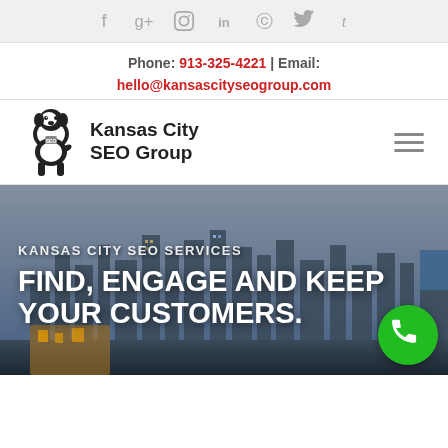[Figure (infographic): Social media icons bar: Facebook, Google+, Instagram, LinkedIn, Pinterest, Twitter, Tumblr icons in grey]
Phone: 913-325-4221 | Email: hello@kansascityseogroup.com
[Figure (logo): Kansas City SEO Group logo with black and white St. Bernard dog illustration and company name text]
[Figure (photo): Kansas city skyline cityscape photo used as hero background image with overlay text: KANSAS CITY SEO SERVICES and FIND, ENGAGE AND KEEP YOUR CUSTOMERS. Green phone button in bottom right.]
KANSAS CITY SEO SERVICES
FIND, ENGAGE AND KEEP YOUR CUSTOMERS.